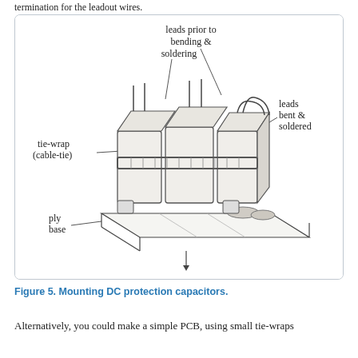termination for the leadout wires.
[Figure (engineering-diagram): Hand-drawn sketch of DC protection capacitors mounted on a ply base. Labels indicate: leads prior to bending & soldering (top), leads bent & soldered (right), tie-wrap (cable-tie) (left), adhesive (bottom right), ply base (bottom left). The capacitors are shown as rectangular blocks with wires, a tie-wrap securing them, adhesive on the base, and bent/soldered leads on the right side.]
Figure 5. Mounting DC protection capacitors.
Alternatively, you could make a simple PCB, using small tie-wraps